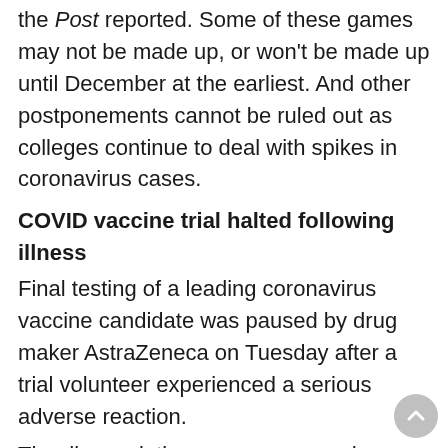the Post reported. Some of these games may not be made up, or won't be made up until December at the earliest. And other postponements cannot be ruled out as colleges continue to deal with spikes in coronavirus cases.
COVID vaccine trial halted following illness
Final testing of a leading coronavirus vaccine candidate was paused by drug maker AstraZeneca on Tuesday after a trial volunteer experienced a serious adverse reaction.
The disappointing news came as drug companies around the world race to develop a coronavirus vaccine that could bring an end to an international pandemic that has claimed almost 900,000 lives, The New York Times reported.
AstraZeneca's vaccine is a front-runner, with late-stage clinical trials underway in different countries. If the